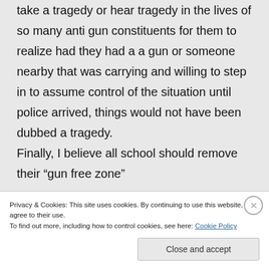take a tragedy or hear tragedy in the lives of so many anti gun constituents for them to realize had they had a a gun or someone nearby that was carrying and willing to step in to assume control of the situation until police arrived, things would not have been dubbed a tragedy. Finally, I believe all school should remove their “gun free zone”
Privacy & Cookies: This site uses cookies. By continuing to use this website, you agree to their use. To find out more, including how to control cookies, see here: Cookie Policy